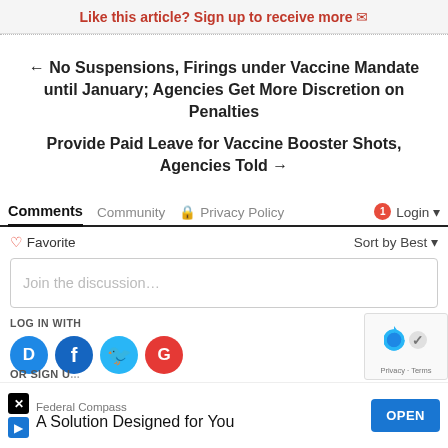Like this article? Sign up to receive more 🔴
← No Suspensions, Firings under Vaccine Mandate until January; Agencies Get More Discretion on Penalties
Provide Paid Leave for Vaccine Booster Shots, Agencies Told →
Comments  Community  🔒 Privacy Policy  1 Login ▼
♡ Favorite  Sort by Best ▼
Join the discussion…
LOG IN WITH
[Figure (logo): Social login icons: Disqus (D), Facebook (f), Twitter bird, Google (G)]
OR SIGN U[p with...]
[Figure (infographic): Advertisement: Federal Compass - A Solution Designed for You (OPEN button). reCAPTCHA logo with Privacy · Terms.]